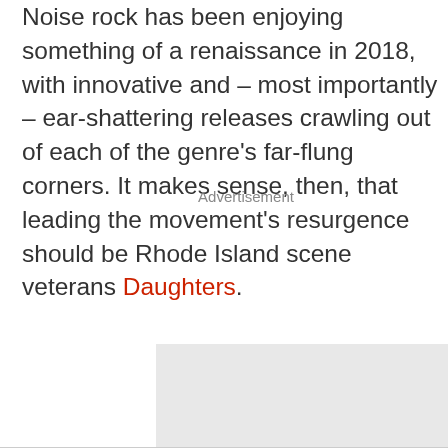Noise rock has been enjoying something of a renaissance in 2018, with innovative and – most importantly – ear-shattering releases crawling out of each of the genre's far-flung corners. It makes sense, then, that leading the movement's resurgence should be Rhode Island scene veterans Daughters.
[Figure (other): Advertisement placeholder box with grey background]